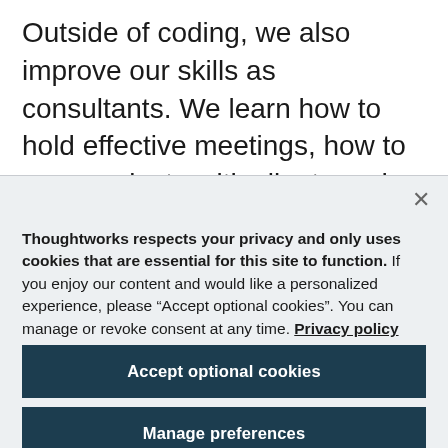Outside of coding, we also improve our skills as consultants. We learn how to hold effective meetings, how to communicate with clients and how to present our ideas to the public. This culminates in
Thoughtworks respects your privacy and only uses cookies that are essential for this site to function. If you enjoy our content and would like a personalized experience, please “Accept optional cookies”. You can manage or revoke consent at any time. Privacy policy